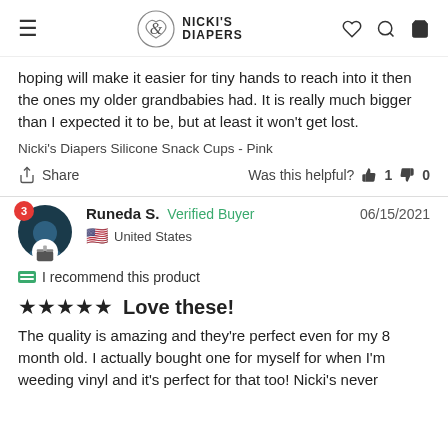Nicki's Diapers
hoping will make it easier for tiny hands to reach into it then the ones my older grandbabies had. It is really much bigger than I expected it to be, but at least it won't get lost.
Nicki's Diapers Silicone Snack Cups - Pink
Share   Was this helpful?  1  0
Runeda S.  Verified Buyer  06/15/2021  United States
I recommend this product
Love these!
The quality is amazing and they're perfect even for my 8 month old. I actually bought one for myself for when I'm weeding vinyl and it's perfect for that too! Nicki's never